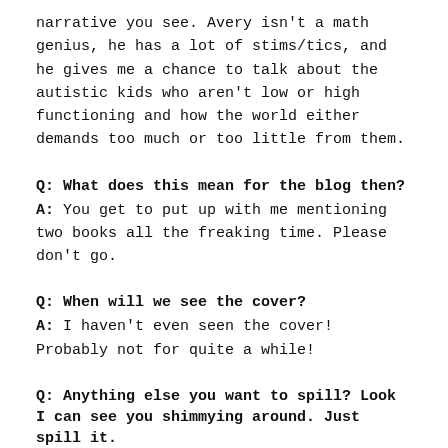narrative you see. Avery isn't a math genius, he has a lot of stims/tics, and he gives me a chance to talk about the autistic kids who aren't low or high functioning and how the world either demands too much or too little from them.
Q: What does this mean for the blog then?
A: You get to put up with me mentioning two books all the freaking time. Please don't go.
Q: When will we see the cover?
A: I haven't even seen the cover! Probably not for quite a while!
Q: Anything else you want to spill? Look I can see you shimmying around. Just spill it.
A: OKAY!! So if you've preordered a copy of A Thousand Perfect Notes, there is actually a sneak peek (half of the first chapter!!) of The Boy Who Steals Houses in the back!! YOU